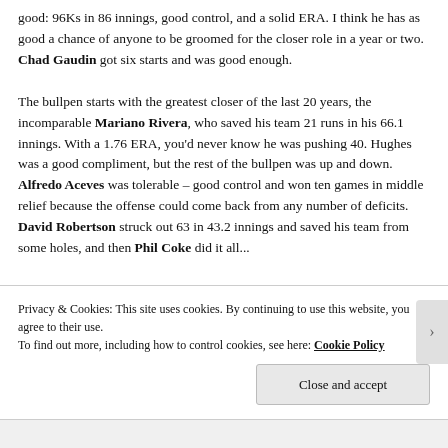good: 96Ks in 86 innings, good control, and a solid ERA. I think he has as good a chance of anyone to be groomed for the closer role in a year or two. Chad Gaudin got six starts and was good enough.

The bullpen starts with the greatest closer of the last 20 years, the incomparable Mariano Rivera, who saved his team 21 runs in his 66.1 innings. With a 1.76 ERA, you'd never know he was pushing 40. Hughes was a good compliment, but the rest of the bullpen was up and down. Alfredo Aceves was tolerable – good control and won ten games in middle relief because the offense could come back from any number of deficits. David Robertson struck out 63 in 43.2 innings and saved his team from some holes, and then Phil Coke did it all...
Privacy & Cookies: This site uses cookies. By continuing to use this website, you agree to their use.
To find out more, including how to control cookies, see here: Cookie Policy